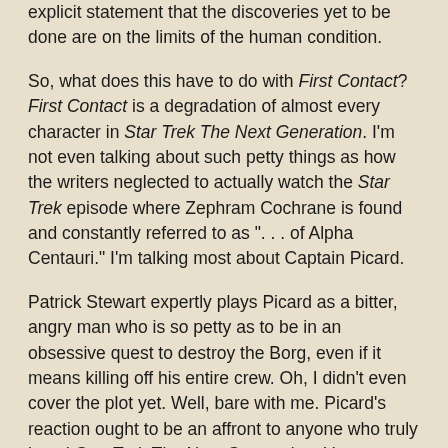explicit statement that the discoveries yet to be done are on the limits of the human condition.
So, what does this have to do with First Contact? First Contact is a degradation of almost every character in Star Trek The Next Generation. I'm not even talking about such petty things as how the writers neglected to actually watch the Star Trek episode where Zephram Cochrane is found and constantly referred to as ". . . of Alpha Centauri." I'm talking most about Captain Picard.
Patrick Stewart expertly plays Picard as a bitter, angry man who is so petty as to be in an obsessive quest to destroy the Borg, even if it means killing off his entire crew. Oh, I didn't even cover the plot yet. Well, bare with me. Picard's reaction ought to be an affront to anyone who truly loved Star Trek The Next Generation. It's a pretty petty twist of Picard's character and if you watched the show, it must seem incongruent that he had far less reaction to being held hostage by a bunch of Borg in the lame "Descent II" than he does at having them contained on the lower decks of his ship in this film. "Ahh," the astute Trekker will say. "That's